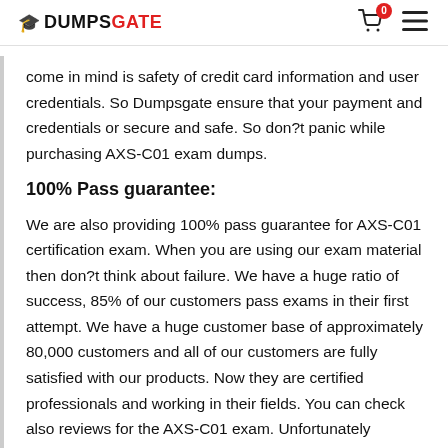DUMPSGATE
come in mind is safety of credit card information and user credentials. So Dumpsgate ensure that your payment and credentials or secure and safe. So don?t panic while purchasing AXS-C01 exam dumps.
100% Pass guarantee:
We are also providing 100% pass guarantee for AXS-C01 certification exam. When you are using our exam material then don?t think about failure. We have a huge ratio of success, 85% of our customers pass exams in their first attempt. We have a huge customer base of approximately 80,000 customers and all of our customers are fully satisfied with our products. Now they are certified professionals and working in their fields. You can check also reviews for the AXS-C01 exam. Unfortunately